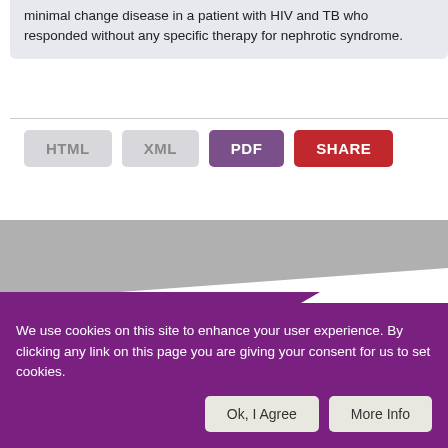minimal change disease in a patient with HIV and TB who responded without any specific therapy for nephrotic syndrome.
[Figure (screenshot): Row of format/action buttons: HTML (grey), XML (grey), PDF (purple), SHARE (red)]
[Figure (illustration): Website banner with grey background, white diagonal sweep, and purple triangle shapes forming a decorative header graphic]
We use cookies on this site to enhance your user experience. By clicking any link on this page you are giving your consent for us to set cookies.
Ok, I Agree   More Info